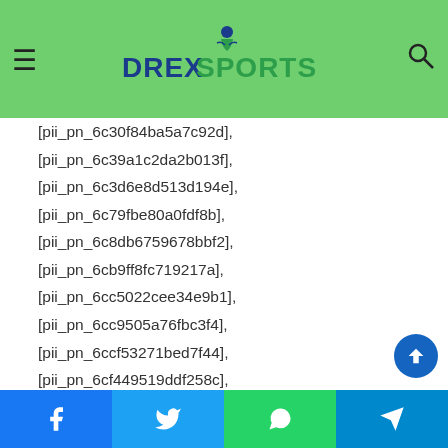DrexSports logo with hamburger menu and search icon
[pii_pn_6c30f84ba5a7c92d],
[pii_pn_6c39a1c2da2b013f],
[pii_pn_6c3d6e8d513d194e],
[pii_pn_6c79fbe80a0fdf8b],
[pii_pn_6c8db6759678bbf2],
[pii_pn_6cb9ff8fc719217a],
[pii_pn_6cc5022cee34e9b1],
[pii_pn_6cc9505a76fbc3f4],
[pii_pn_6ccf53271bed7f44],
[pii_pn_6cf449519ddf258c],
[pii_pn_6cf82097e2bbc8358020],
[pii_pn_6cfbb5ac9ff70cb9],
[pii_pn_6cfd58d77dc821da],
Facebook | Twitter | WhatsApp | Telegram share buttons